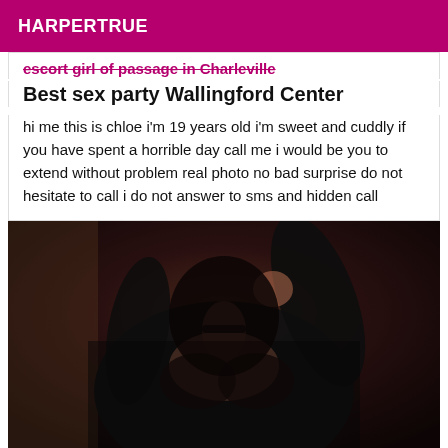HARPERTRUE
escort girl of passage in Charleville
Best sex party Wallingford Center
hi me this is chloe i'm 19 years old i'm sweet and cuddly if you have spent a horrible day call me i would be you to extend without problem real photo no bad surprise do not hesitate to call i do not answer to sms and hidden call
[Figure (photo): A person in a black sheer top and dark lingerie, photographed from close up against a neutral background.]